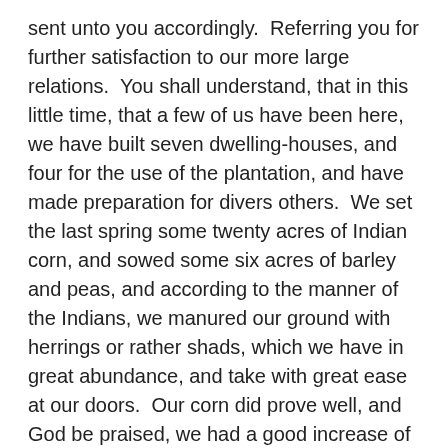sent unto you accordingly.  Referring you for further satisfaction to our more large relations.  You shall understand, that in this little time, that a few of us have been here, we have built seven dwelling-houses, and four for the use of the plantation, and have made preparation for divers others.  We set the last spring some twenty acres of Indian corn, and sowed some six acres of barley and peas, and according to the manner of the Indians, we manured our ground with herrings or rather shads, which we have in great abundance, and take with great ease at our doors.  Our corn did prove well, and God be praised, we had a good increase of Indian corn, and our barley indifferent good, but our peas not worth the gathering, for we feared they were too late sown, they came up very well, and blossomed, but the sun parched them in the blossom; our harvest being gotten in, our governor sent four men on fowling, that so we might after a more special manner rejoice together, after we had